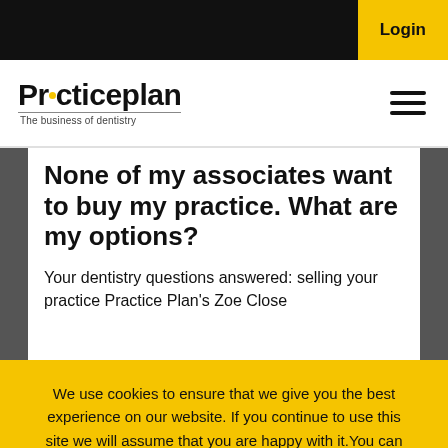Login
[Figure (logo): Practice Plan logo with tagline 'The business of dentistry']
None of my associates want to buy my practice. What are my options?
Your dentistry questions answered: selling your practice Practice Plan’s Zoe Close looks for answers to the questions and...
We use cookies to ensure that we give you the best experience on our website. If you continue to use this site we will assume that you are happy with it.You can find out more by reading our cookie policy.
Okay
Cookie Policy